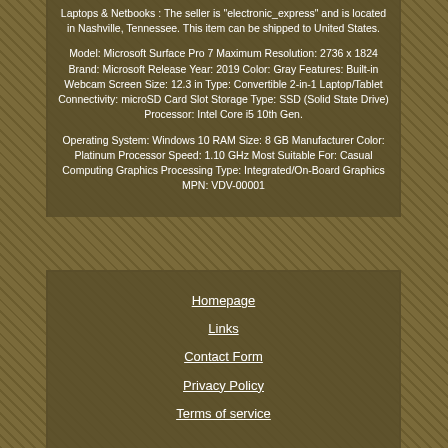Laptops & Netbooks : The seller is "electronic_express" and is located in Nashville, Tennessee. This item can be shipped to United States.
Model: Microsoft Surface Pro 7 Maximum Resolution: 2736 x 1824 Brand: Microsoft Release Year: 2019 Color: Gray Features: Built-in Webcam Screen Size: 12.3 in Type: Convertible 2-in-1 Laptop/Tablet Connectivity: microSD Card Slot Storage Type: SSD (Solid State Drive) Processor: Intel Core i5 10th Gen.
Operating System: Windows 10 RAM Size: 8 GB Manufacturer Color: Platinum Processor Speed: 1.10 GHz Most Suitable For: Casual Computing Graphics Processing Type: Integrated/On-Board Graphics MPN: VDV-00001
Homepage
Links
Contact Form
Privacy Policy
Terms of service